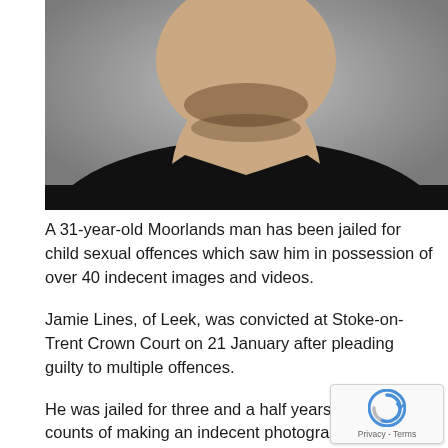[Figure (photo): Cropped photo showing the lower face, neck, and collar area of a man with stubble/beard wearing a black shirt, against a grey background.]
A 31-year-old Moorlands man has been jailed for child sexual offences which saw him in possession of over 40 indecent images and videos.
Jamie Lines, of Leek, was convicted at Stoke-on-Trent Crown Court on 21 January after pleading guilty to multiple offences.
He was jailed for three and a half years for three counts of making an indecent photograph of a child, possession of an extreme pornographic image, three counts of attempted sexual communication with a child, attempting to incite a child to engage in penetrative sexual activity and two o…